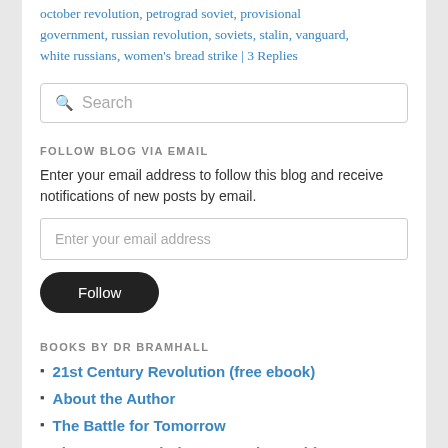october revolution, petrograd soviet, provisional government, russian revolution, soviets, stalin, vanguard, white russians, women's bread strike | 3 Replies
[Figure (other): Search input box with magnifying glass icon and 'Search' placeholder text]
FOLLOW BLOG VIA EMAIL
Enter your email address to follow this blog and receive notifications of new posts by email.
[Figure (other): Email address input field with placeholder 'Enter your email address']
[Figure (other): Follow button - black pill-shaped button with white text 'Follow']
BOOKS BY DR BRAMHALL
21st Century Revolution (free ebook)
About the Author
The Battle for Tomorrow
The Most Revolutionary Act (memoir)